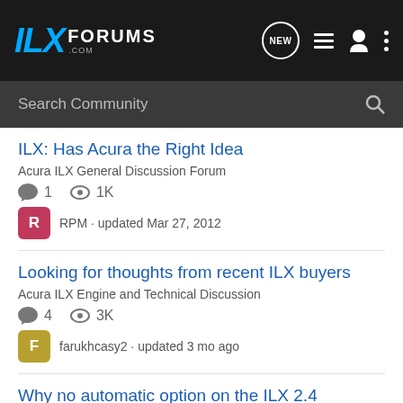ILX Forums header with search bar
ILX: Has Acura the Right Idea
Acura ILX General Discussion Forum
1 replies · 1K views · RPM · updated Mar 27, 2012
Looking for thoughts from recent ILX buyers
Acura ILX Engine and Technical Discussion
4 replies · 3K views · farukhcasy2 · updated 3 mo ago
Why no automatic option on the ILX 2.4 Premium?
Acura ILX General Discussion Forum